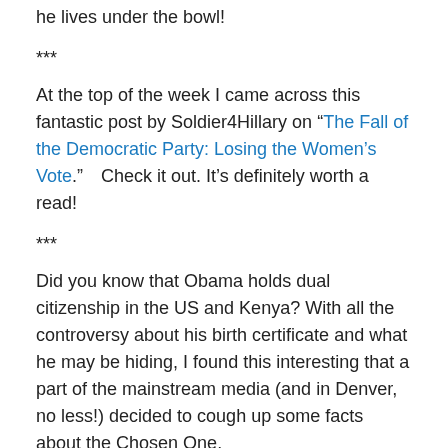he lives under the bowl!
***
At the top of the week I came across this fantastic post by Soldier4Hillary on “The Fall of the Democratic Party: Losing the Women’s Vote.”  Check it out. It’s definitely worth a read!
***
Did you know that Obama holds dual citizenship in the US and Kenya? With all the controversy about his birth certificate and what he may be hiding, I found this interesting that a part of the mainstream media (and in Denver, no less!) decided to cough up some facts about the Chosen One.
Here is a Denver Post article about the controversy from...